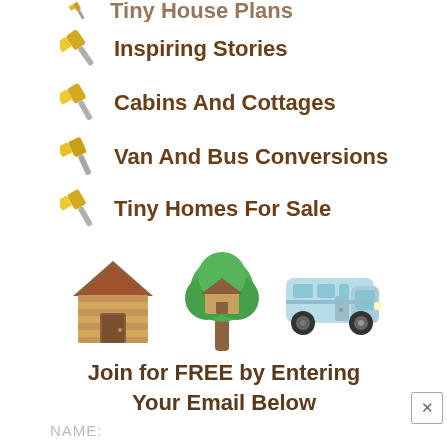Tiny House Plans (partial, cropped at top)
Inspiring Stories
Cabins And Cottages
Van And Bus Conversions
Tiny Homes For Sale
[Figure (illustration): Three emoji-style icons: a log cabin, a treehouse, and an RV/camper van]
Join for FREE by Entering Your Email Below
NAME: